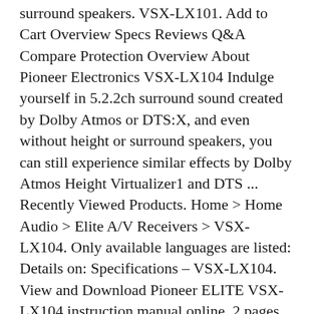surround speakers. VSX-LX101. Add to Cart Overview Specs Reviews Q&A Compare Protection Overview About Pioneer Electronics VSX-LX104 Indulge yourself in 5.2.2ch surround sound created by Dolby Atmos or DTS:X, and even without height or surround speakers, you can still experience similar effects by Dolby Atmos Height Virtualizer1 and DTS ... Recently Viewed Products. Home > Home Audio > Elite A/V Receivers > VSX-LX104. Only available languages are listed: Details on: Specifications – VSX-LX104. View and Download Pioneer ELITE VSX-LX104 instruction manual online. 2 pages Download PDF Manual » Pioneer VSX LX104 Update Instructions. Pioneer Elite VSX-LX104 Manual.